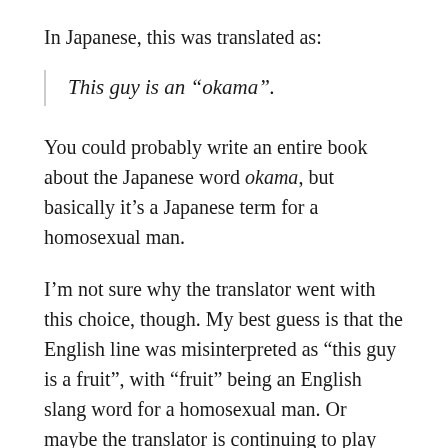In Japanese, this was translated as:
This guy is an “okama”.
You could probably write an entire book about the Japanese word okama, but basically it’s a Japanese term for a homosexual man.
I’m not sure why the translator went with this choice, though. My best guess is that the English line was misinterpreted as “this guy is a fruit”, with “fruit” being an English slang word for a homosexual man. Or maybe the translator is continuing to play off of Peter’s previous insults. I don’t know.
After I first posted this article, a colleague